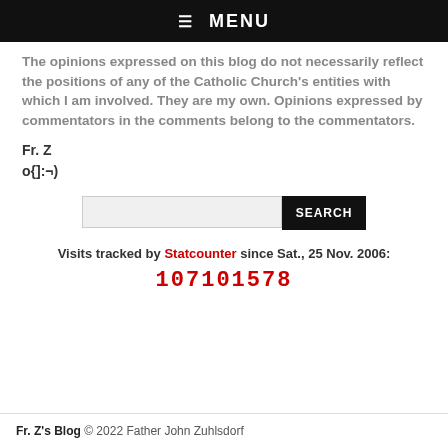☰ MENU
The opinions expressed on this blog do not necessarily reflect the positions of any of the Catholic Church's entities with which I am involved. They are my own. Opinions expressed by commentators in the comments belong to the commentators.
Fr. Z
o{]:¬)
[Figure (other): Search bar with text input and SEARCH button]
Visits tracked by Statcounter since Sat., 25 Nov. 2006:
107101578
Fr. Z's Blog © 2022 Father John Zuhlsdorf